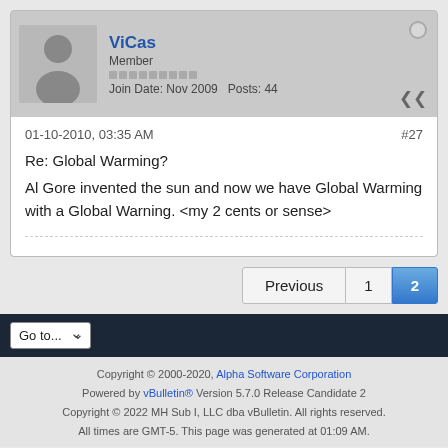ViCas
Member
Join Date: Nov 2009   Posts: 44
01-10-2010, 03:35 AM
#27
Re: Global Warming?
Al Gore invented the sun and now we have Global Warming with a Global Warning. <my 2 cents or sense>
Previous  1  2
Go to...
Copyright © 2000-2020, Alpha Software Corporation Powered by vBulletin® Version 5.7.0 Release Candidate 2 Copyright © 2022 MH Sub I, LLC dba vBulletin. All rights reserved. All times are GMT-5. This page was generated at 01:09 AM.